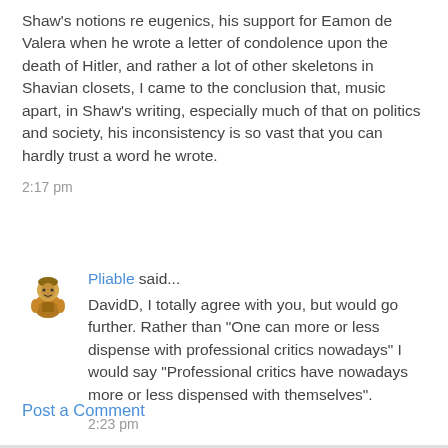Shaw's notions re eugenics, his support for Eamon de Valera when he wrote a letter of condolence upon the death of Hitler, and rather a lot of other skeletons in Shavian closets, I came to the conclusion that, music apart, in Shaw's writing, especially much of that on politics and society, his inconsistency is so vast that you can hardly trust a word he wrote.
2:17 pm
[Figure (illustration): Small avatar/icon of a cartoon character, brown tones, used as comment author avatar]
Pliable said...
DavidD, I totally agree with you, but would go further. Rather than "One can more or less dispense with professional critics nowadays" I would say "Professional critics have nowadays more or less dispensed with themselves".
2:23 pm
Post a Comment